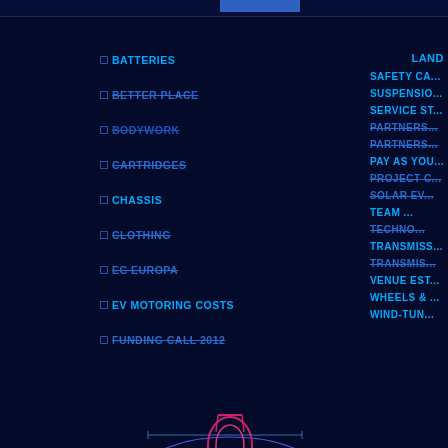BATTERIES
BETTER PLACE
BODYWORK
CARTRIDGES
CHASSIS
CLOTHING
EC EUROPA
EV MOTORING COSTS
FUNDING CALL 2012
FUNDING PROGRESS
HYBRID MULTI-FUEL TRANSITION
INSTRUMENTS
INTELLECTUAL PROPERTY RIGHTS
LSK ESTIMATES
MOTORS
LAND
SAFETY CA...
SUSPENSION...
SERVICE ST...
PARTNERS...
PARTNERS...
PAY AS YOU...
PROJECT C...
SOLAR EV...
TEAM ...
TECHNO...
TRANSMISS...
TRANSMIS...
VENUE EST...
WHEELS & ...
WIND-TUN...
[Figure (engineering-diagram): Blueprint-style CAD drawing of a Formula E race car shown from front view with wheel assembly detail and suspension component below, rendered in blue/purple neon lines on dark navy background]